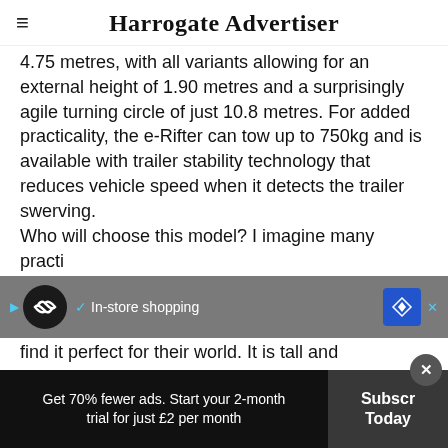Harrogate Advertiser
4.75 metres, with all variants allowing for an external height of 1.90 metres and a surprisingly agile turning circle of just 10.8 metres. For added practicality, the e-Rifter can tow up to 750kg and is available with trailer stability technology that reduces vehicle speed when it detects the trailer swerving.
Who will choose this model? I imagine many practical [people] will find it perfect for their world. It is tall and
Get 70% fewer ads. Start your 2-month trial for just £2 per month
Subscribe Today